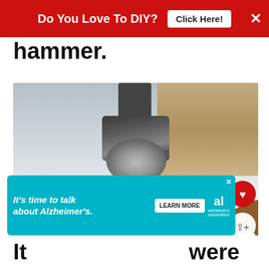[Figure (screenshot): Red advertisement banner at top reading 'Do You Love To DIY?' with a 'Click Here!' button and an X close button]
hammer.
[Figure (photo): Close-up photograph of a hammer hitting a nail or furniture tack into a white painted wooden surface with decorative tree/leaf pattern inlay in dark wood visible at the bottom. A heart (like) button and share button overlay the right side. A 'WHAT'S NEXT' card shows 'Christmas Bedroom...' in the bottom right corner.]
[Figure (screenshot): Teal/cyan advertisement banner reading 'It's time to talk about Alzheimer's.' with a 'LEARN MORE' button and the Alzheimer's Association logo, with an X close button]
It were